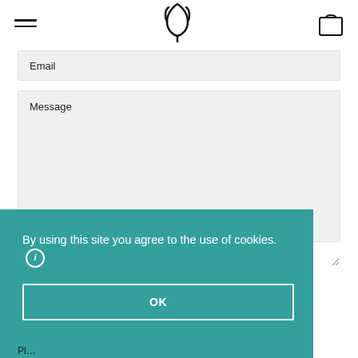[Figure (logo): Website header with hamburger menu icon on left, stylized tulip/leaf logo in center, shopping bag icon on right]
Email
Message
By using this site you agree to the use of cookies. ℹ
OK
Pl...